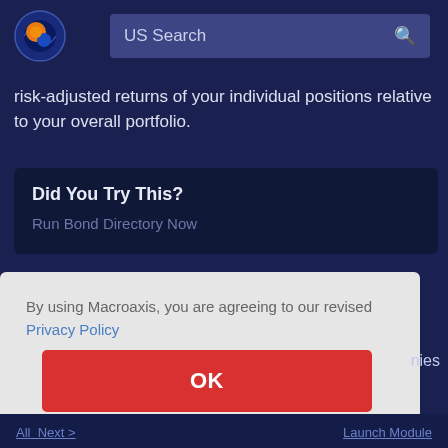[Figure (logo): Macroaxis logo – circular icon with orange and blue globe graphic]
US Search
risk-adjusted returns of your individual positions relative to your overall portfolio.
Did You Try This?
Run Bond Directory Now
By using Macroaxis, you are agreeing to our revised Privacy Policy
OK
nies
All  Next >                     Launch Module